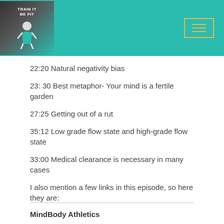[Figure (logo): Podcast logo with woman flexing, text 'TRAIN IT BE FIT' on teal background header]
22:20 Natural negativity bias
23: 30 Best metaphor- Your mind is a fertile garden
27:25 Getting out of a rut
35:12 Low grade flow state and high-grade flow state
33:00 Medical clearance is necessary in many cases
I also mention a few links in this episode, so here they are:
MindBody Athletics
Flow Profile
How Champions Think